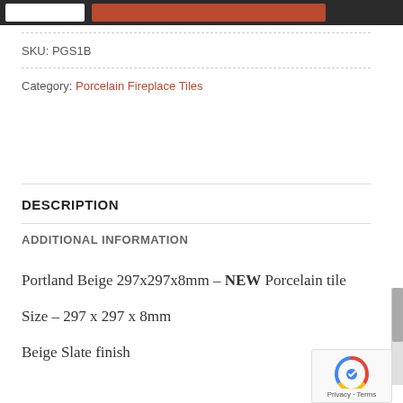SKU: PGS1B
Category: Porcelain Fireplace Tiles
DESCRIPTION
ADDITIONAL INFORMATION
Portland Beige 297x297x8mm – NEW Porcelain tile
Size – 297 x 297 x 8mm
Beige Slate finish